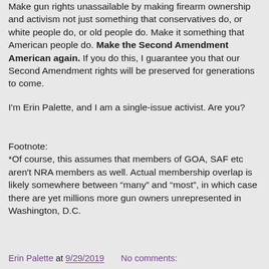Make gun rights unassailable by making firearm ownership and activism not just something that conservatives do, or white people do, or old people do. Make it something that American people do. Make the Second Amendment American again. If you do this, I guarantee you that our Second Amendment rights will be preserved for generations to come.
I'm Erin Palette, and I am a single-issue activist. Are you?
Footnote:
*Of course, this assumes that members of GOA, SAF etc aren't NRA members as well. Actual membership overlap is likely somewhere between “many” and “most”, in which case there are yet millions more gun owners unrepresented in Washington, D.C.
Erin Palette at 9/29/2019    No comments: